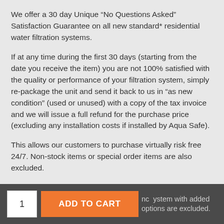We offer a 30 day Unique “No Questions Asked” Satisfaction Guarantee on all new standard* residential water filtration systems.
If at any time during the first 30 days (starting from the date you receive the item) you are not 100% satisfied with the quality or performance of your filtration system, simply re-package the unit and send it back to us in “as new condition” (used or unused) with a copy of the tax invoice and we will issue a full refund for the purchase price (excluding any installation costs if installed by Aqua Safe).
This allows our customers to purchase virtually risk free 24/7. Non-stock items or special order items are also excluded.
nc ystem with added options are excluded.